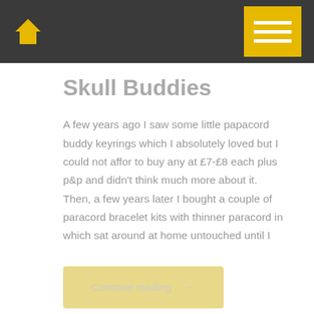Skull Buddies
A few years ago I saw some little papacord buddy keyrings which I absolutely loved but I could not affor to buy any at £7-£8 each plus p&p and didn't think much more about it. Then, a few years later I bought a couple of paracord bracelet kits with thinner paracord in which sat around at home untouched until I
Continue reading →